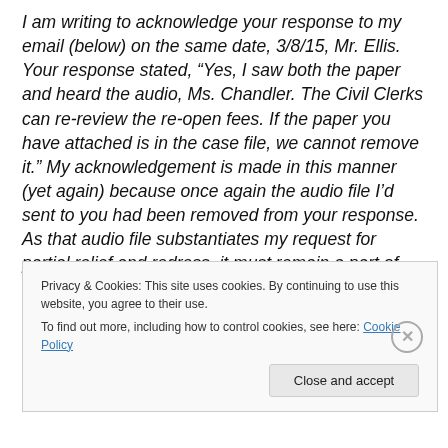I am writing to acknowledge your response to my email (below) on the same date, 3/8/15, Mr. Ellis. Your response stated, “Yes, I saw both the paper and heard the audio, Ms. Chandler. The Civil Clerks can re-review the re-open fees. If the paper you have attached is in the case file, we cannot remove it.” My acknowledgement is made in this manner (yet again) because once again the audio file I’d sent to you had been removed from your response. As that audio file substantiates my request for partial relief and redress, it must remain a part of this paper trail. As
Privacy & Cookies: This site uses cookies. By continuing to use this website, you agree to their use.
To find out more, including how to control cookies, see here: Cookie Policy